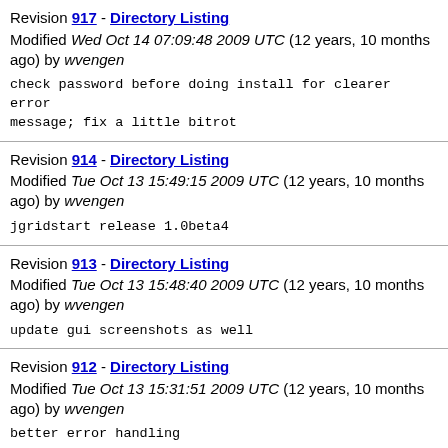Revision 917 - Directory Listing
Modified Wed Oct 14 07:09:48 2009 UTC (12 years, 10 months ago) by wvengen
check password before doing install for clearer error message; fix a little bitrot
Revision 914 - Directory Listing
Modified Tue Oct 13 15:49:15 2009 UTC (12 years, 10 months ago) by wvengen
jgridstart release 1.0beta4
Revision 913 - Directory Listing
Modified Tue Oct 13 15:48:40 2009 UTC (12 years, 10 months ago) by wvengen
update gui screenshots as well
Revision 912 - Directory Listing
Modified Tue Oct 13 15:31:51 2009 UTC (12 years, 10 months ago) by wvengen
better error handling
Revision 911 - Directory Listing